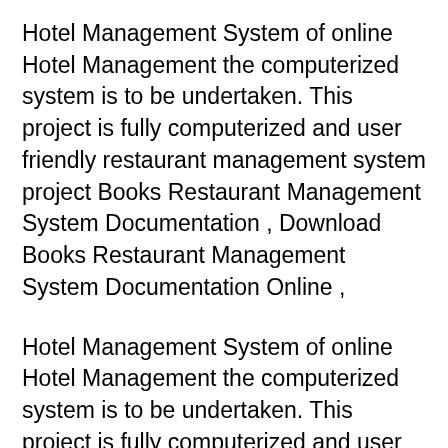Hotel Management System of online Hotel Management the computerized system is to be undertaken. This project is fully computerized and user friendly restaurant management system project Books Restaurant Management System Documentation , Download Books Restaurant Management System Documentation Online ,
Hotel Management System of online Hotel Management the computerized system is to be undertaken. This project is fully computerized and user friendly A simple electronic reservation book The simplest restaurant diary & booking management system available simpleERB is an online restaurant diar;